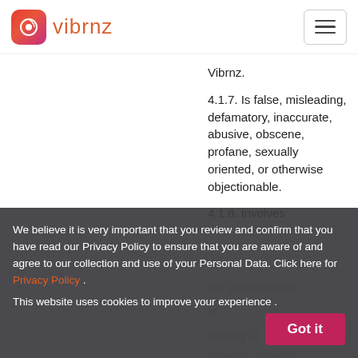vibrnz
Vibrnz.
4.1.7. Is false, misleading, defamatory, inaccurate, abusive, obscene, profane, sexually oriented, or otherwise objectionable.
4.1.8. Involves the transmission of … mailing or phishing, trolling or other similar activities.
We believe it is very important that you review and confirm that you have read our Privacy Policy to ensure that you are aware of and agree to our collection and use of your Personal Data. Click here for Privacy Policy . This website uses cookies to improve your experience .